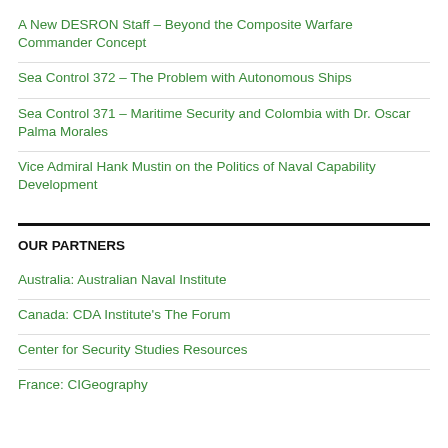A New DESRON Staff – Beyond the Composite Warfare Commander Concept
Sea Control 372 – The Problem with Autonomous Ships
Sea Control 371 – Maritime Security and Colombia with Dr. Oscar Palma Morales
Vice Admiral Hank Mustin on the Politics of Naval Capability Development
OUR PARTNERS
Australia: Australian Naval Institute
Canada: CDA Institute's The Forum
Center for Security Studies Resources
France: CIGeography